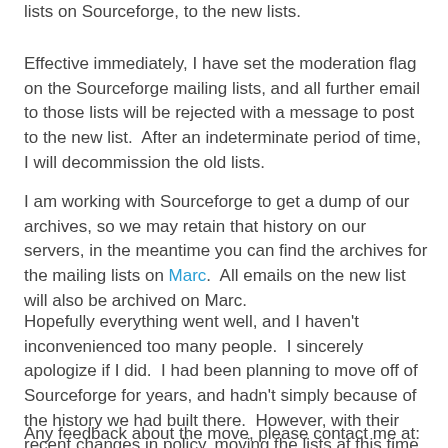lists on Sourceforge, to the new lists.
Effective immediately, I have set the moderation flag on the Sourceforge mailing lists, and all further email to those lists will be rejected with a message to post to the new list.  After an indeterminate period of time, I will decommission the old lists.
I am working with Sourceforge to get a dump of our archives, so we may retain that history on our servers, in the meantime you can find the archives for the mailing lists on Marc.  All emails on the new list will also be archived on Marc.
Hopefully everything went well, and I haven't inconvenienced too many people.  I sincerely apologize if I did.  I had been planning to move off of Sourceforge for years, and hadn't simply because of the history we had built there.  However, with their recent changes in policy, moving the lists at this time made sense.
Any feedback about the move, please contact me at: snort-